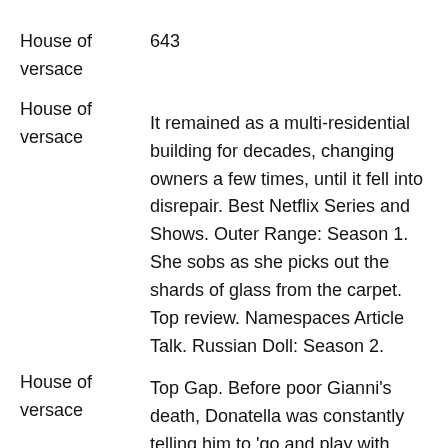| House of versace | 643 |
| House of versace | It remained as a multi-residential building for decades, changing owners a few times, until it fell into disrepair. Best Netflix Series and Shows. Outer Range: Season 1. She sobs as she picks out the shards of glass from the carpet. Top review. Namespaces Article Talk. Russian Doll: Season 2. |
| House of versace | Top Gap. Before poor Gianni's death, Donatella was constantly telling him to 'go and play with your boyfriend'. Obviously, it's impossible to totally replicate the face, but between the tan, those pilates arms, and a team of makeup artists, they did a pretty |